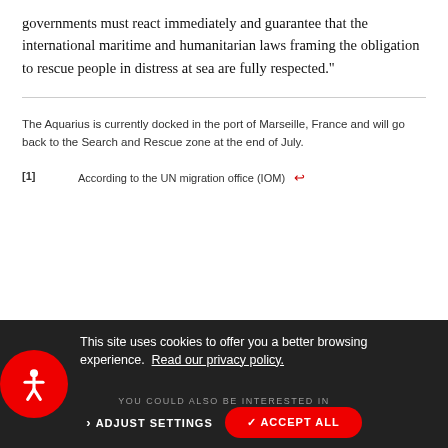governments must react immediately and guarantee that the international maritime and humanitarian laws framing the obligation to rescue people in distress at sea are fully respected."
The Aquarius is currently docked in the port of Marseille, France and will go back to the Search and Rescue zone at the end of July.
[1]  According to the UN migration office (IOM) ←
This site uses cookies to offer you a better browsing experience.  Read our privacy policy.
YOU COULD ALSO BE INTERESTED IN
> ADJUST SETTINGS   ✓ ACCEPT ALL